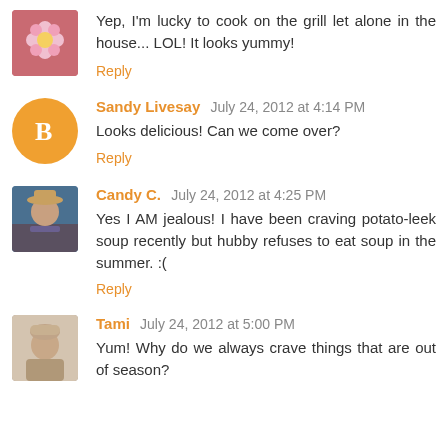Yep, I'm lucky to cook on the grill let alone in the house... LOL! It looks yummy!
Reply
Sandy Livesay  July 24, 2012 at 4:14 PM
Looks delicious! Can we come over?
Reply
Candy C.  July 24, 2012 at 4:25 PM
Yes I AM jealous! I have been craving potato-leek soup recently but hubby refuses to eat soup in the summer. :(
Reply
Tami  July 24, 2012 at 5:00 PM
Yum! Why do we always crave things that are out of season?